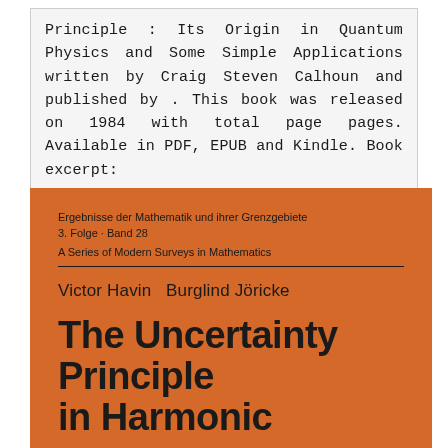Principle : Its Origin in Quantum Physics and Some Simple Applications written by Craig Steven Calhoun and published by . This book was released on 1984 with total page pages. Available in PDF, EPUB and Kindle. Book excerpt:
[Figure (illustration): Book cover: orange background with series info 'Ergebnisse der Mathematik und ihrer Grenzgebiete, 3. Folge · Band 28, A Series of Modern Surveys in Mathematics', authors 'Victor Havin  Burglind Jöricke', and title 'The Uncertainty Principle in Harmonic' in bold black text]